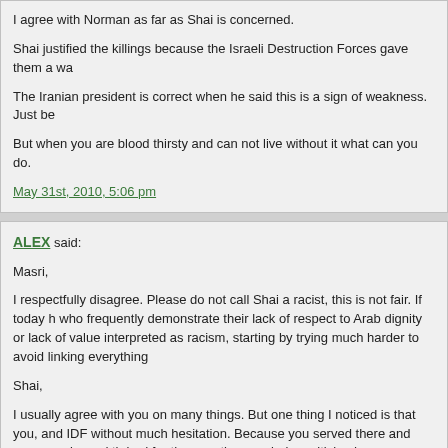I agree with Norman as far as Shai is concerned.
Shai justified the killings because the Israeli Destruction Forces gave them a wa
The Iranian president is correct when he said this is a sign of weakness. Just b
But when you are blood thirsty and can not live without it what can you do.
May 31st, 2010, 5:06 pm
ALEX said:
Masri,
I respectfully disagree. Please do not call Shai a racist, this is not fair. If today h who frequently demonstrate their lack of respect to Arab dignity or lack of value interpreted as racism, starting by trying much harder to avoid linking everything
Shai,
I usually agree with you on many things. But one thing I noticed is that you, and IDF without much hesitation. Because you served there and you experienced th bad for them as they are being criticized on discussion forums like SC.
The problem is that the IDF is more than a group of innocent kids defending the neighbors who entertain the thought of resisting Israel's illegal occupation of the of pride and even enjoyment and entertainment when it performs so well during
Comprehensive peace means the end of the IDF as you now it … with solid pea colorful clothing.
I'm sure you will tell me that you would love to see that day, but many Israelis w subconsciously.
May 31st, 2010, 5:13 pm